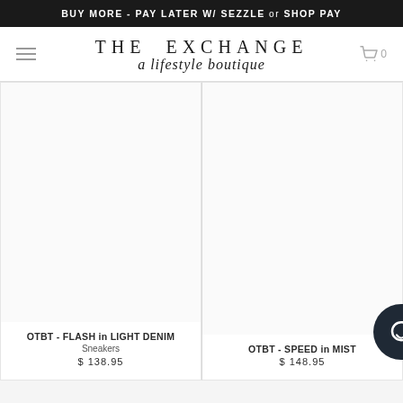BUY MORE - PAY LATER W/ SEZZLE or SHOP PAY
[Figure (logo): THE EXCHANGE a lifestyle boutique logo with hamburger menu icon on left and cart icon (0) on right]
[Figure (photo): Product image placeholder for OTBT FLASH in LIGHT DENIM Sneakers]
OTBT - FLASH in LIGHT DENIM Sneakers
$ 138.95
[Figure (photo): Product image placeholder for OTBT SPEED in MIST]
OTBT - SPEED in MIST
$ 148.95